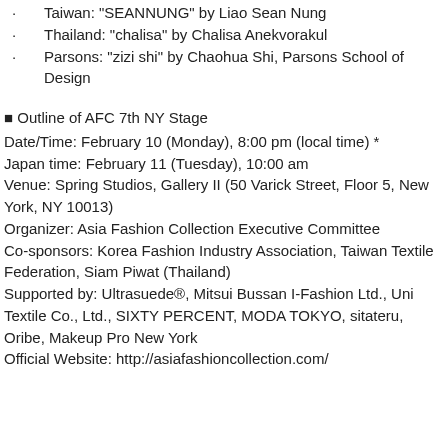Taiwan: “SEANNUNG” by Liao Sean Nung
Thailand: “chalisa” by Chalisa Anekvorakul
Parsons: “zizi shi” by Chaohua Shi, Parsons School of Design
■ Outline of AFC 7th NY Stage
Date/Time: February 10 (Monday), 8:00 pm (local time) *
Japan time: February 11 (Tuesday), 10:00 am
Venue: Spring Studios, Gallery II (50 Varick Street, Floor 5, New York, NY 10013)
Organizer: Asia Fashion Collection Executive Committee
Co-sponsors: Korea Fashion Industry Association, Taiwan Textile Federation, Siam Piwat (Thailand)
Supported by: Ultrasuede®, Mitsui Bussan I-Fashion Ltd., Uni Textile Co., Ltd., SIXTY PERCENT, MODA TOKYO, sitateru, Oribe, Makeup Pro New York
Official Website: http://asiafashioncollection.com/